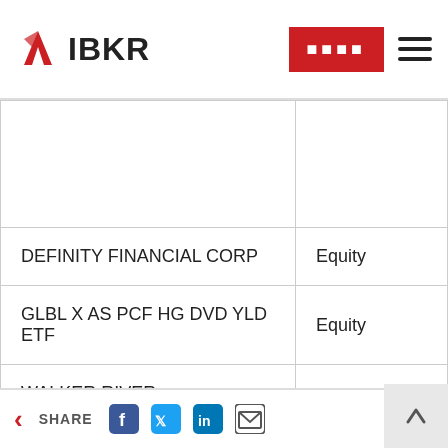IBKR
| Name | Type |
| --- | --- |
|  |  |
| DEFINITY FINANCIAL CORP | Equity |
| GLBL X AS PCF HG DVD YLD ETF | Equity |
| WALKER RIVER RESOURCES CORP | Equity |
|  |  |
SHARE